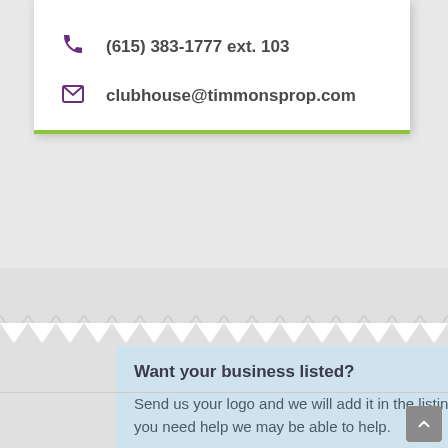(615) 383-1777 ext. 103
clubhouse@timmonsprop.com
Want your business listed?
Send us your logo and we will add it in the listing. Please size them to 200px by 150px. If you need help we may be able to help.